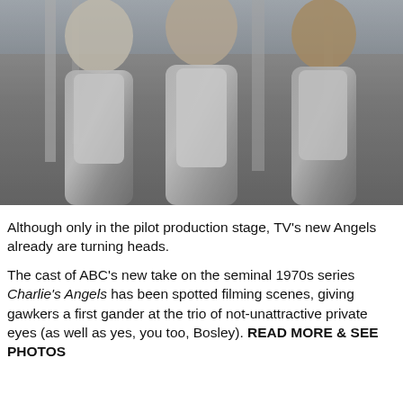[Figure (photo): Three women in white outfits walking together and smiling, outdoors in bright sunlight. A TV production still from Charlie's Angels.]
Although only in the pilot production stage, TV's new Angels already are turning heads.
The cast of ABC's new take on the seminal 1970s series Charlie's Angels has been spotted filming scenes, giving gawkers a first gander at the trio of not-unattractive private eyes (as well as yes, you too, Bosley). READ MORE & SEE PHOTOS